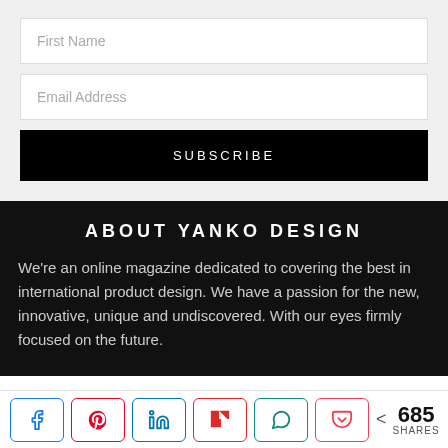First Name
Email Address
SUBSCRIBE
ABOUT YANKO DESIGN
We're an online magazine dedicated to covering the best in international product design. We have a passion for the new, innovative, unique and undiscovered. With our eyes firmly focused on the future.
685 SHARES